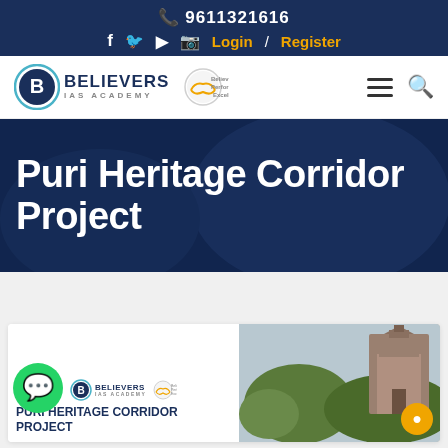9611321616
f  Twitter  YouTube  Instagram  Login / Register
[Figure (logo): Believers IAS Academy logo with circular B emblem and handshake icon, tagline: Believe Perform Excel]
Puri Heritage Corridor Project
[Figure (screenshot): Card showing Believers IAS Academy logo with WhatsApp icon and text PURI HERITAGE CORRIDOR PROJECT on left, temple image on right with orange chat bubble]